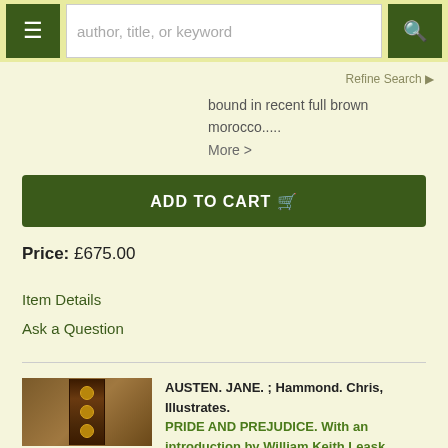author, title, or keyword
Refine Search
bound in recent full brown morocco..... More >
ADD TO CART
Price: £675.00
Item Details
Ask a Question
[Figure (photo): Photo of a book spine, dark brown leather with gold circular decorative elements]
AUSTEN. JANE. ; Hammond. Chris, Illustrates.
PRIDE AND PREJUDICE. With an introduction by William Keith Leask.